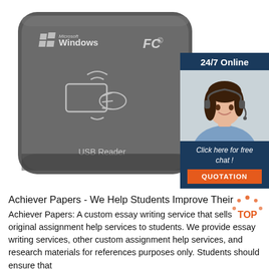[Figure (photo): A dark gray NFC/RFID USB card reader device with Microsoft Windows logo and FCC mark on top, and a contactless card icon in the center, labeled 'USB Reader']
[Figure (infographic): Advertisement box with dark blue background showing '24/7 Online', a photo of a smiling woman with a headset, italic text 'Click here for free chat!', and an orange button labeled 'QUOTATION']
Achiever Papers - We Help Students Improve Their
Achiever Papers: A custom essay writing service that sells original assignment help services to students. We provide essay writing services, other custom assignment help services, and research materials for references purposes only. Students should ensure that